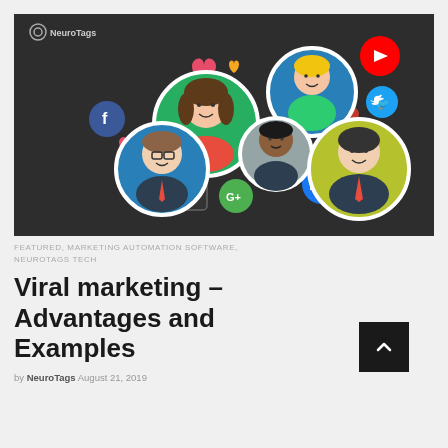[Figure (illustration): Dark background illustration showing viral/social marketing concept: five circular avatar portraits of diverse people (brunette woman on green bg, blonde woman on blue bg, man with glasses on blue bg, man in suit on yellow-green bg, young man on gray bg), surrounded by social media icons (Facebook, Twitter, YouTube, Google+, thumbs-up/like button), colorful hearts in red/yellow/pink, and a video play button rectangle. NeuroTags logo in top-left corner.]
FEATURED, MARKETING AUTOMATION SOFTWARE, NEUROTAGS TECH
Viral marketing – Advantages and Examples
by NeuroTags   August 21, 2019